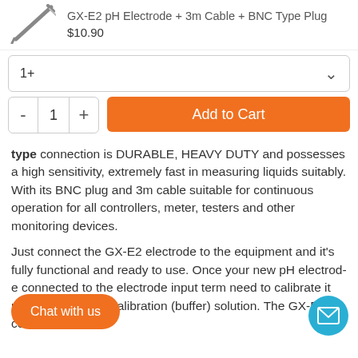GX-E2 pH Electrode + 3m Cable + BNC Type Plug
$10.90
1+
- 1 + Add to Cart
type connection is DURABLE, HEAVY DUTY and possesses a high sensitivity, extremely fast in measuring liquids suitably. With its BNC plug and 3m cable suitable for continuous operation for all controllers, meter, testers and other monitoring devices.
Just connect the GX-E2 electrode to the equipment and it's fully functional and ready to use. Once your new pH ele connected to the electrode inpu tem need to calibrate it using the su calibration (buffer) solution. The GX-E2 comes with a
Chat with us